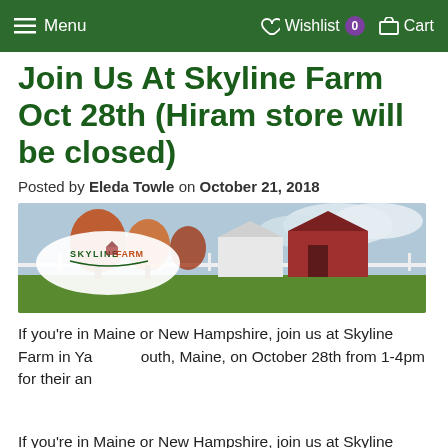Menu   Wishlist 0   Cart
Join Us At Skyline Farm Oct 28th (Hiram store will be closed)
Posted by Eleda Towle on October 21, 2018
[Figure (photo): Skyline Farm banner image showing a farm with autumn trees and white fence, with the Skyline Farm logo on the left.]
If you're in Maine or New Hampshire, join us at Skyline Farm in Yarmouth, Maine, on October 28th from 1-4pm for their annual Great Pumpkin event!  Triple Mountain's Hiram, Maine store will be closed this day so that we can bring the mobile model store to Skyline!  This wil